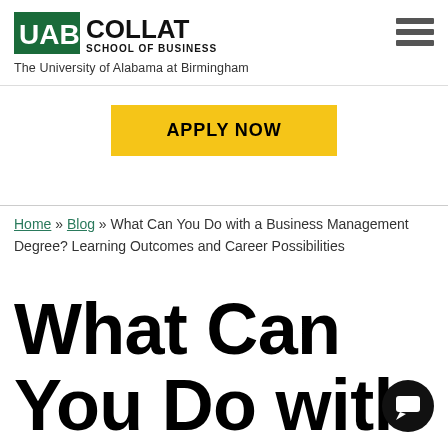[Figure (logo): UAB Collat School of Business logo with green UAB letters and COLLAT SCHOOL OF BUSINESS text]
The University of Alabama at Birmingham
[Figure (other): Hamburger menu icon with three horizontal bars]
APPLY NOW
Home » Blog » What Can You Do with a Business Management Degree? Learning Outcomes and Career Possibilities
What Can You Do with a